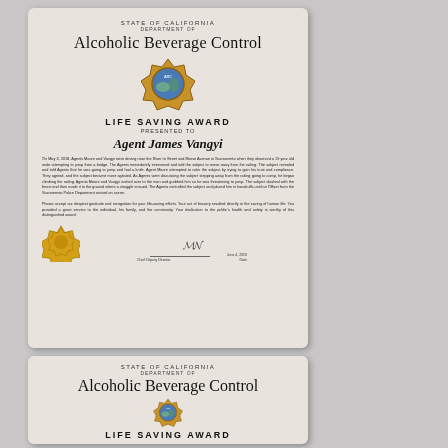[Figure (photo): State of California Department of Alcoholic Beverage Control Life Saving Award certificate presented to Agent James Vangyi, with ABC badge emblem, body text describing the life-saving event, gold seal, and signature line.]
[Figure (photo): Partial view of a second State of California Department of Alcoholic Beverage Control Life Saving Award certificate, showing the top portion with ABC badge emblem and 'LIFE SAVING AWARD' heading.]